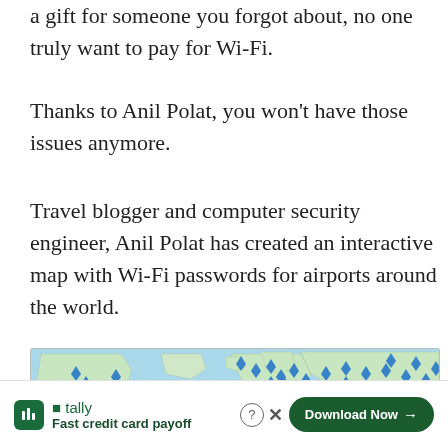a gift for someone you forgot about, no one truly want to pay for Wi-Fi.
Thanks to Anil Polat, you won't have those issues anymore.
Travel blogger and computer security engineer, Anil Polat has created an interactive map with Wi-Fi passwords for airports around the world.
[Figure (map): Interactive world map showing airport Wi-Fi locations marked with blue airplane/location icons across North America, Europe and other regions]
[Figure (other): Tally app advertisement banner: 'Fast credit card payoff' with a 'Download Now' button]